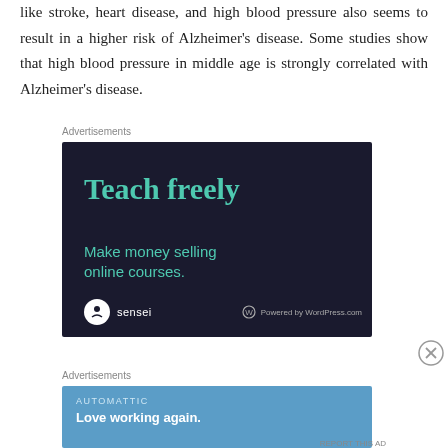like stroke, heart disease, and high blood pressure also seems to result in a higher risk of Alzheimer's disease. Some studies show that high blood pressure in middle age is strongly correlated with Alzheimer's disease.
Advertisements
[Figure (other): Advertisement for Sensei by WordPress.com: dark navy background with teal text reading 'Teach freely' and 'Make money selling online courses.' Sensei logo and 'Powered by WordPress.com' at bottom.]
Advertisements
[Figure (other): Advertisement for Automattic: blue background with text 'AUTOMATTIC' and 'Love working again.']